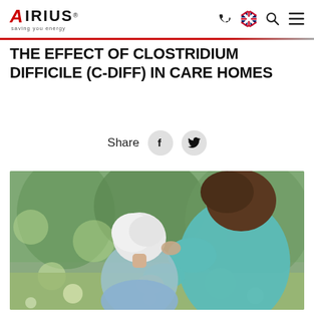Airius — saving you energy
THE EFFECT OF CLOSTRIDIUM DIFFICILE (C-DIFF) IN CARE HOMES
Share
[Figure (photo): A caregiver in a teal/light blue top placing a comforting hand on the shoulder of an elderly person with white hair, seated outdoors in a garden setting with blurred green trees in the background.]